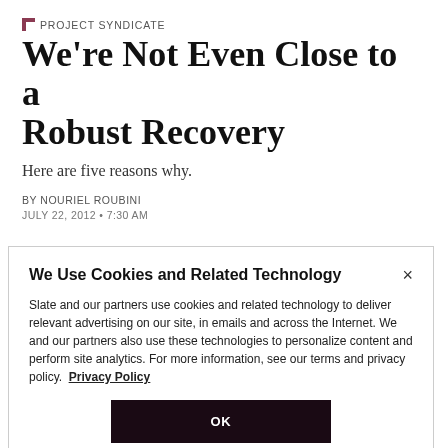PROJECT SYNDICATE
We're Not Even Close to a Robust Recovery
Here are five reasons why.
BY NOURIEL ROUBINI
JULY 22, 2012 • 7:30 AM
We Use Cookies and Related Technology
Slate and our partners use cookies and related technology to deliver relevant advertising on our site, in emails and across the Internet. We and our partners also use these technologies to personalize content and perform site analytics. For more information, see our terms and privacy policy.  Privacy Policy
OK